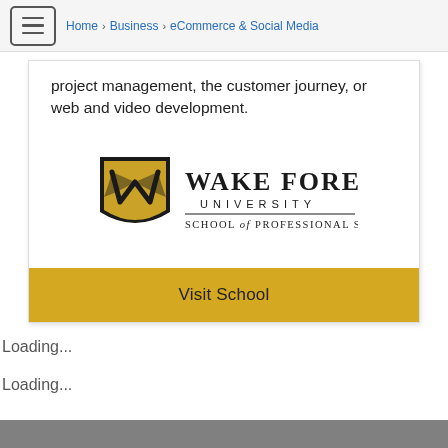Home > Business > eCommerce & Social Media
project management, the customer journey, or web and video development.
[Figure (logo): Wake Forest University School of Professional Studies logo]
Visit School
Loading...
Loading...